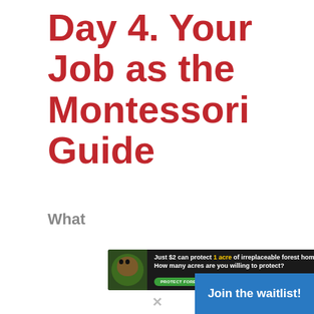Day 4. Your Job as the Montessori Guide
What
[Figure (infographic): Advertisement banner with dark background showing an animal face surrounded by green foliage. Text reads: 'Just $2 can protect 1 acre of irreplaceable forest homes in the Amazon. How many acres are you willing to protect?' with a green 'PROTECT FORESTS NOW' button.]
[Figure (other): Blue 'Join the waitlist!' call-to-action button in the bottom right corner.]